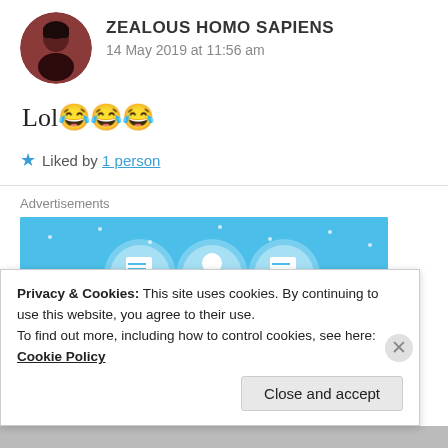ZEALOUS HOMO SAPIENS
14 May 2019 at 11:56 am
Lol😂😂😂
★ Liked by 1 person
Advertisements
[Figure (screenshot): Blue advertisement banner with circular icons showing a notebook, a character, and a document]
Privacy & Cookies: This site uses cookies. By continuing to use this website, you agree to their use.
To find out more, including how to control cookies, see here: Cookie Policy
Close and accept